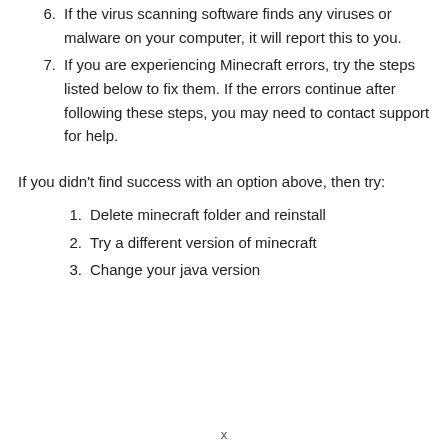6. If the virus scanning software finds any viruses or malware on your computer, it will report this to you.
7. If you are experiencing Minecraft errors, try the steps listed below to fix them. If the errors continue after following these steps, you may need to contact support for help.
If you didn't find success with an option above, then try:
1. Delete minecraft folder and reinstall
2. Try a different version of minecraft
3. Change your java version
x